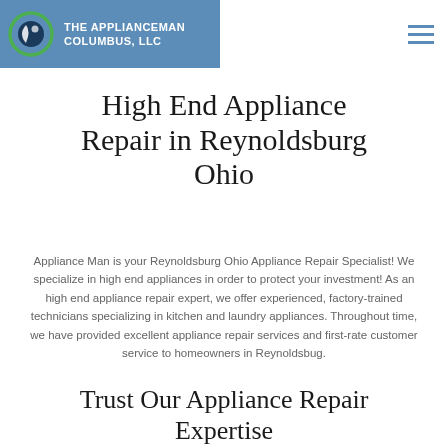THE APPLIANCEMAN COLUMBUS, LLC
High End Appliance Repair in Reynoldsburg Ohio
Appliance Man is your Reynoldsburg Ohio Appliance Repair Specialist! We specialize in high end appliances in order to protect your investment! As an high end appliance repair expert, we offer experienced, factory-trained technicians specializing in kitchen and laundry appliances. Throughout time, we have provided excellent appliance repair services and first-rate customer service to homeowners in Reynoldsbug.
Trust Our Appliance Repair Expertise